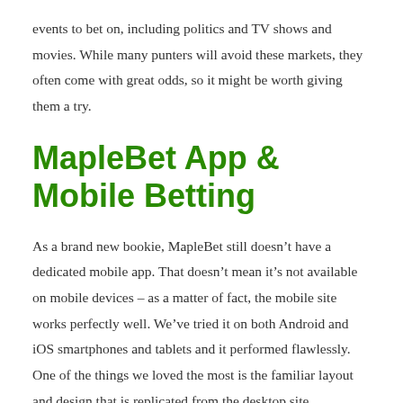events to bet on, including politics and TV shows and movies. While many punters will avoid these markets, they often come with great odds, so it might be worth giving them a try.
MapleBet App & Mobile Betting
As a brand new bookie, MapleBet still doesn’t have a dedicated mobile app. That doesn’t mean it’s not available on mobile devices – as a matter of fact, the mobile site works perfectly well. We’ve tried it on both Android and iOS smartphones and tablets and it performed flawlessly. One of the things we loved the most is the familiar layout and design that is replicated from the desktop site.